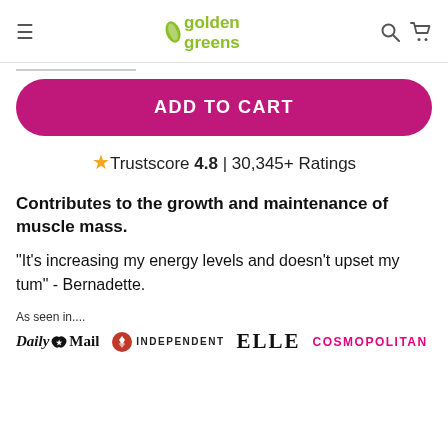golden greens
ADD TO CART
★ Trustscore 4.8 | 30,345+ Ratings
Contributes to the growth and maintenance of muscle mass.
"It's increasing my energy levels and doesn't upset my tum" - Bernadette.
As seen in.... Daily Mail INDEPENDENT ELLE COSMOPOLITAN